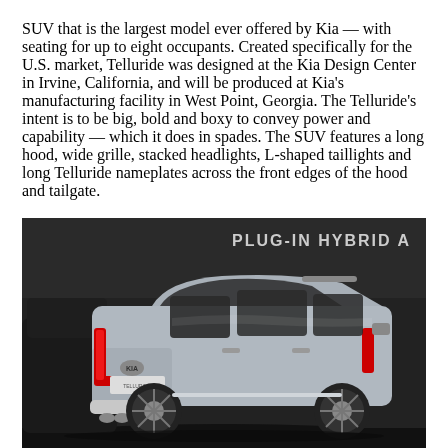SUV that is the largest model ever offered by Kia — with seating for up to eight occupants. Created specifically for the U.S. market, Telluride was designed at the Kia Design Center in Irvine, California, and will be produced at Kia's manufacturing facility in West Point, Georgia. The Telluride's intent is to be big, bold and boxy to convey power and capability — which it does in spades. The SUV features a long hood, wide grille, stacked headlights, L-shaped taillights and long Telluride nameplates across the front edges of the hood and tailgate.
[Figure (photo): Rear three-quarter view of a silver Kia Telluride SUV displayed at an auto show, with a dark background featuring 'PLUG-IN HYBRID A' text partially visible at the top right.]